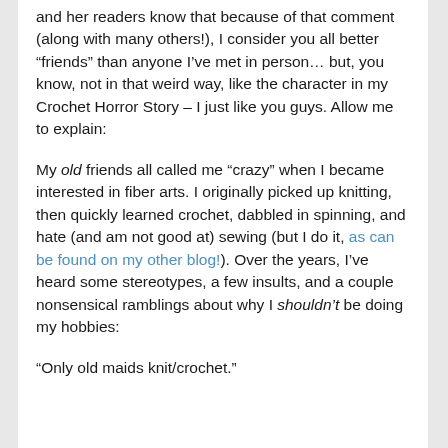and her readers know that because of that comment (along with many others!), I consider you all better “friends” than anyone I’ve met in person… but, you know, not in that weird way, like the character in my Crochet Horror Story – I just like you guys. Allow me to explain:
My old friends all called me “crazy” when I became interested in fiber arts. I originally picked up knitting, then quickly learned crochet, dabbled in spinning, and hate (and am not good at) sewing (but I do it, as can be found on my other blog!). Over the years, I’ve heard some stereotypes, a few insults, and a couple nonsensical ramblings about why I shouldn’t be doing my hobbies:
“Only old maids knit/crochet.”